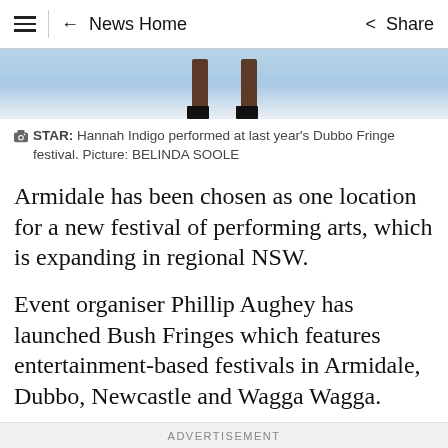≡  ← News Home  Share
[Figure (photo): Cropped photo of a performer's legs and boots on stage at Dubbo Fringe festival, sky background visible]
STAR: Hannah Indigo performed at last year's Dubbo Fringe festival. Picture: BELINDA SOOLE
Armidale has been chosen as one location for a new festival of performing arts, which is expanding in regional NSW.
Event organiser Phillip Aughey has launched Bush Fringes which features entertainment-based festivals in Armidale, Dubbo, Newcastle and Wagga Wagga.
ADVERTISEMENT